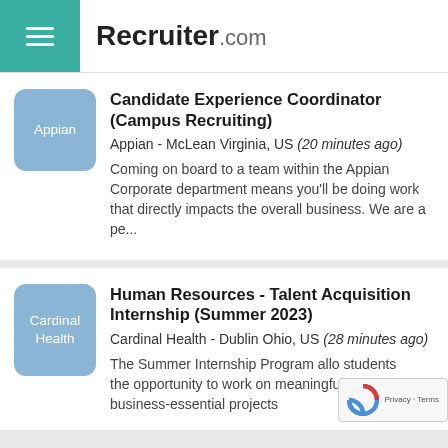Recruiter.com
Candidate Experience Coordinator (Campus Recruiting)
Appian - McLean Virginia, US (20 minutes ago)
Coming on board to a team within the Appian Corporate department means you'll be doing work that directly impacts the overall business. We are a pe...
Human Resources - Talent Acquisition Internship (Summer 2023)
Cardinal Health - Dublin Ohio, US (28 minutes ago)
The Summer Internship Program allows students the opportunity to work on meaningful, business-essential projects